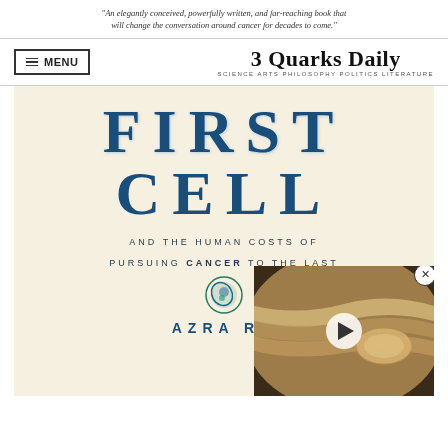"An elegantly conceived, powerfully written, and far-reaching book that will change the conversation around cancer for decades to come."
3 Quarks Daily — SCIENCE ARTS PHILOSOPHY POLITICS LITERATURE
[Figure (illustration): Book cover of 'First Cell and the Human Costs of Pursuing Cancer to the Last' by Azra Raza. Large blue serif letters spell FIRST CELL on a cream background, with subtitle text and author name, plus a small circular cell graphic. A video player overlay appears in the bottom right corner showing a Jupiter image with a play button and close button.]